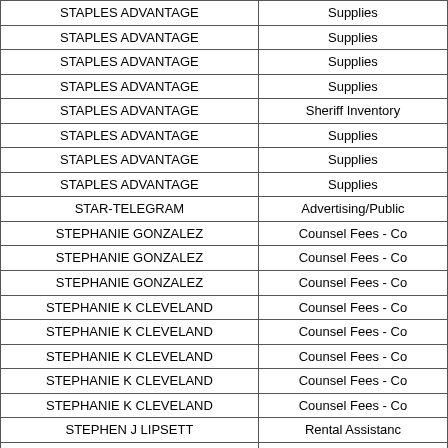| Vendor | Category |
| --- | --- |
| STAPLES ADVANTAGE | Supplies |
| STAPLES ADVANTAGE | Supplies |
| STAPLES ADVANTAGE | Supplies |
| STAPLES ADVANTAGE | Supplies |
| STAPLES ADVANTAGE | Sheriff Inventory |
| STAPLES ADVANTAGE | Supplies |
| STAPLES ADVANTAGE | Supplies |
| STAPLES ADVANTAGE | Supplies |
| STAR-TELEGRAM | Advertising/Public |
| STEPHANIE GONZALEZ | Counsel Fees - Co |
| STEPHANIE GONZALEZ | Counsel Fees - Co |
| STEPHANIE GONZALEZ | Counsel Fees - Co |
| STEPHANIE K CLEVELAND | Counsel Fees - Co |
| STEPHANIE K CLEVELAND | Counsel Fees - Co |
| STEPHANIE K CLEVELAND | Counsel Fees - Co |
| STEPHANIE K CLEVELAND | Counsel Fees - Co |
| STEPHANIE K CLEVELAND | Counsel Fees - Co |
| STEPHEN J LIPSETT | Rental Assistanc |
| Steve M King | Education |
| STEVEN R MIEARS PC | Counsel Fees-Crim |
| STILETTO SPY&COMPANY INVESTIGATIONS | Investigative |
| STREAM ENERGY | Utility Assistanc |
| STUART HOSE AND PIPE COMPANY | Parts and Suppli |